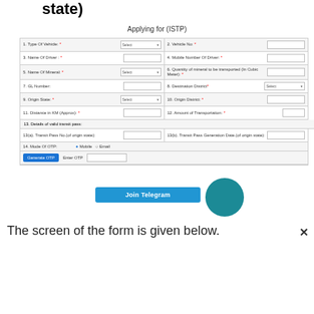state)
Applying for (ISTP)
[Figure (screenshot): Web form for ISTP application with fields: Type Of Vehicle, Vehicle No, Name Of Driver, Mobile Number Of Driver, Name Of Mineral, Quantity of mineral to be transported (In Cubic Meter), GL Number, Destination District, Origin State, Origin District, Distance in KM (Approx), Amount of Transportation, Details of valid transit pass (Transit Pass No of origin state, Transit Pass Generation Date of origin state), Mode Of OTP (Mobile/Email), Generate OTP button, Enter OTP field. A 'Join Telegram' button overlay and teal circle are visible.]
The screen of the form is given below.